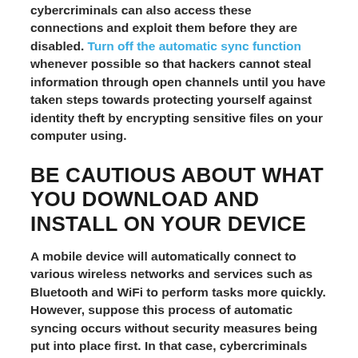cybercriminals can also access these connections and exploit them before they are disabled. Turn off the automatic sync function whenever possible so that hackers cannot steal information through open channels until you have taken steps towards protecting yourself against identity theft by encrypting sensitive files on your computer using.
BE CAUTIOUS ABOUT WHAT YOU DOWNLOAD AND INSTALL ON YOUR DEVICE
A mobile device will automatically connect to various wireless networks and services such as Bluetooth and WiFi to perform tasks more quickly. However, suppose this process of automatic syncing occurs without security measures being put into place first. In that case, cybercriminals can also access these connections and exploit them before they are disabled.